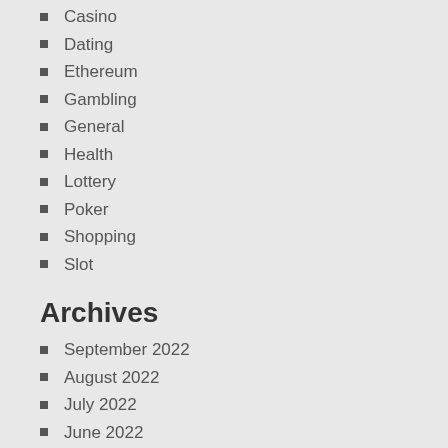Casino
Dating
Ethereum
Gambling
General
Health
Lottery
Poker
Shopping
Slot
Archives
September 2022
August 2022
July 2022
June 2022
May 2022